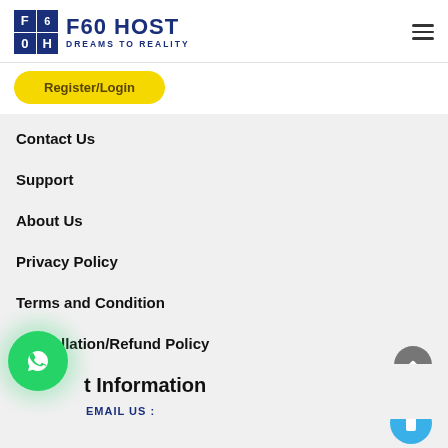[Figure (logo): F60 HOST logo with grid icon showing F,6,0,H in blue squares and text 'F60 HOST DREAMS TO REALITY']
Register/Login
Contact Us
Support
About Us
Privacy Policy
Terms and Condition
Cancellation/Refund Policy
Contact Information
EMAIL US :